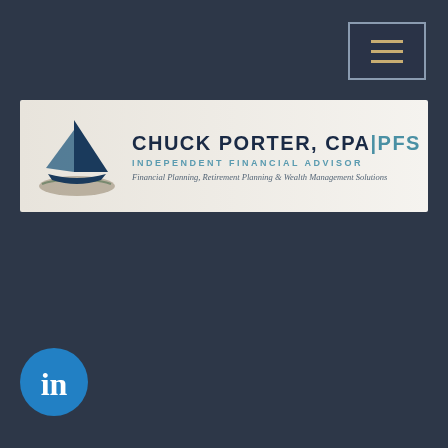[Figure (logo): Navigation hamburger menu button with three horizontal gold lines on dark background with border]
[Figure (logo): Chuck Porter CPA|PFS Independent Financial Advisor logo banner with sailboat graphic on light beige background. Text: CHUCK PORTER, CPA|PFS INDEPENDENT FINANCIAL ADVISOR Financial Planning, Retirement Planning & Wealth Management Solutions]
chuck@chuckportercpa.com
[Figure (logo): LinkedIn circular icon with 'in' text on blue background]